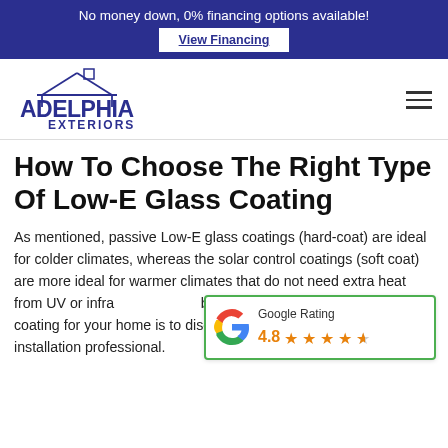No money down, 0% financing options available!
View Financing
[Figure (logo): Adelphia Exteriors logo with house outline and blue text]
How To Choose The Right Type Of Low-E Glass Coating
As mentioned, passive Low-E glass coatings (hard-coat) are ideal for colder climates, whereas the solar control coatings (soft coat) are more ideal for warmer climates that do not need extra heat from UV or infrared light. The best way to choose the right Low-E coating for your home is to discuss both options with a window installation professional.
[Figure (other): Google Rating widget showing 4.8 stars out of 5]